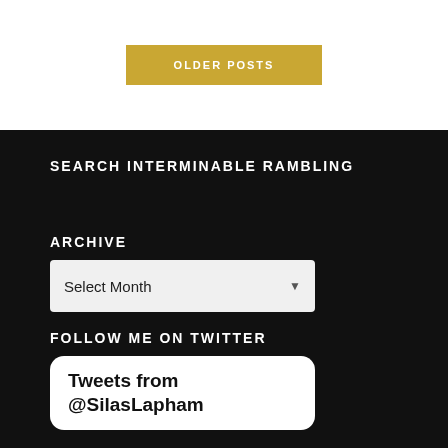OLDER POSTS
SEARCH INTERMINABLE RAMBLING
ARCHIVE
Select Month
FOLLOW ME ON TWITTER
Tweets from @SilasLapham